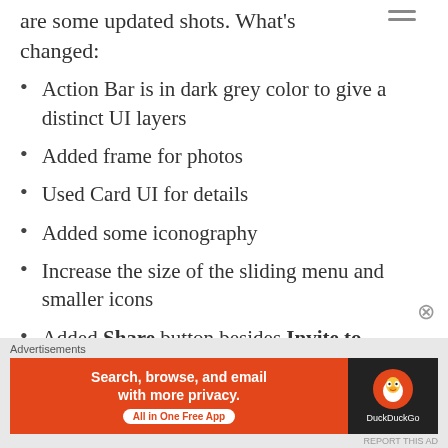…within the Points LinkedIn Training, and below are some updated shots. What's changed:
Action Bar is in dark grey color to give a distinct UI layers
Added frame for photos
Used Card UI for details
Added some iconography
Increase the size of the sliding menu and smaller icons
Added Share button besides Invite to Connect button
Advertisements
[Figure (screenshot): DuckDuckGo advertisement banner: Search, browse, and email with more privacy. All in One Free App. DuckDuckGo logo on dark background.]